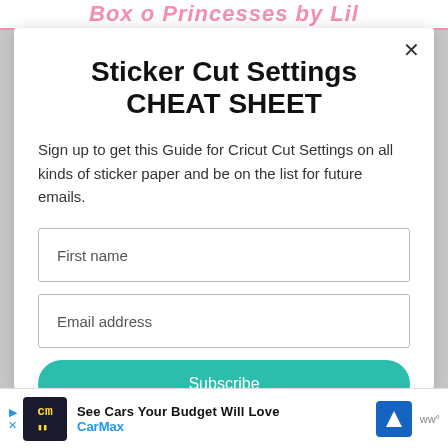Box o Princesses by Lil
Sticker Cut Settings CHEAT SHEET
Sign up to get this Guide for Cricut Cut Settings on all kinds of sticker paper and be on the list for future emails.
First name
Email address
Subscribe
[Figure (infographic): Advertisement banner: CarMax ad with logo, text 'See Cars Your Budget Will Love', CarMax branding, navigation icon, and WM logo at right.]